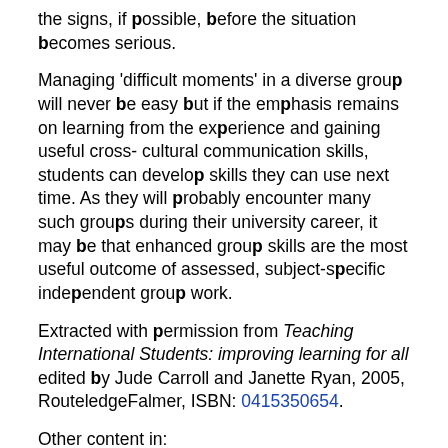the signs, if possible, before the situation becomes serious.
Managing 'difficult moments' in a diverse group will never be easy but if the emphasis remains on learning from the experience and gaining useful cross- cultural communication skills, students can develop skills they can use next time. As they will probably encounter many such groups during their university career, it may be that enhanced group skills are the most useful outcome of assessed, subject-specific independent group work.
Extracted with permission from Teaching International Students: improving learning for all edited by Jude Carroll and Janette Ryan, 2005, RouteledgeFalmer, ISBN: 0415350654.
Other content in:
Assessment and monitoring